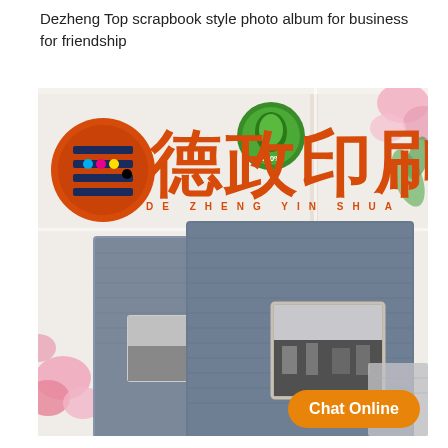Dezheng Top scrapbook style photo album for business for friendship
[Figure (photo): Product image showing two blue-grey linen-covered scrapbook style photo albums with a window for a photo on the front cover. The image includes a Chinese brand logo (orange circle with abacus/printing icon), large orange Chinese characters and romanized text 'DE ZHENG YIN SUA', a green leaf/organic seal badge, decorative pink flowers, and an orange 'Chat Online' button in the lower right corner.]